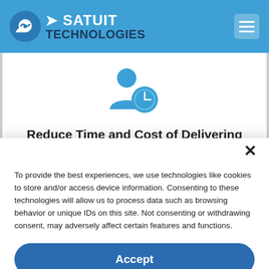Satuit Technologies
[Figure (illustration): Person with clock icon — user time management illustration]
Reduce Time and Cost of Delivering
To provide the best experiences, we use technologies like cookies to store and/or access device information. Consenting to these technologies will allow us to process data such as browsing behavior or unique IDs on this site. Not consenting or withdrawing consent, may adversely affect certain features and functions.
Accept
Cookie Policy   Privacy Statement   Imprint